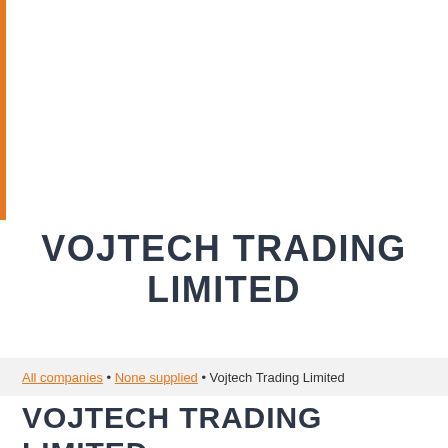VOJTECH TRADING LIMITED
All companies • None supplied • Vojtech Trading Limited
VOJTECH TRADING LIMITED: ADDRESS, PHONE, FAX, EMAIL, WEB SITE, SCHEDULE